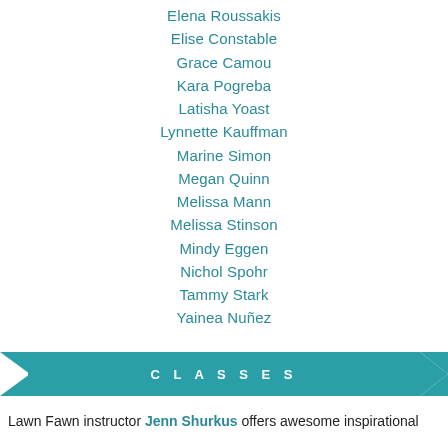Elena Roussakis
Elise Constable
Grace Camou
Kara Pogreba
Latisha Yoast
Lynnette Kauffman
Marine Simon
Megan Quinn
Melissa Mann
Melissa Stinson
Mindy Eggen
Nichol Spohr
Tammy Stark
Yainea Nuñez
CLASSES
Lawn Fawn instructor Jenn Shurkus offers awesome inspirational